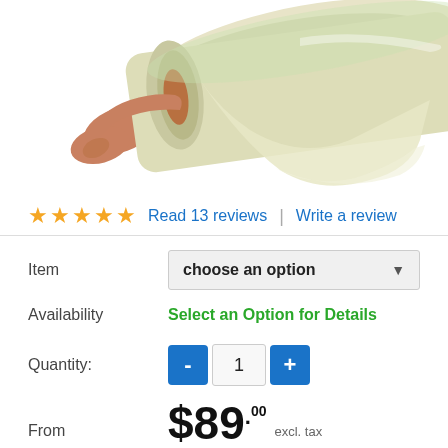[Figure (photo): A hand holding a large roll of clear/transparent stretch film or plastic wrap, shown diagonally from above on a white background.]
★★★★☆ Read 13 reviews | Write a review
Item: choose an option
Availability: Select an Option for Details
Quantity: 1
From $89.00 excl. tax